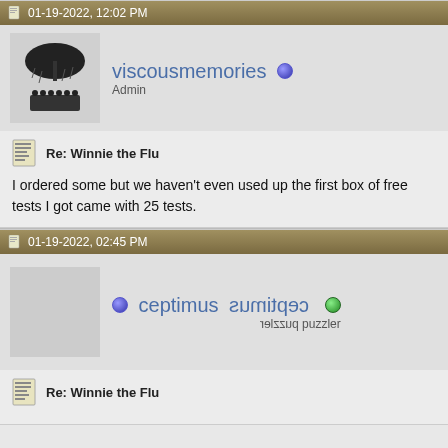01-19-2022, 12:02 PM
viscousmemories
Admin
Re: Winnie the Flu
I ordered some but we haven't even used up the first box of free tests I got came with 25 tests.
01-19-2022, 02:45 PM
ceptimus simitqes
puzzler puzzler
Re: Winnie the Flu